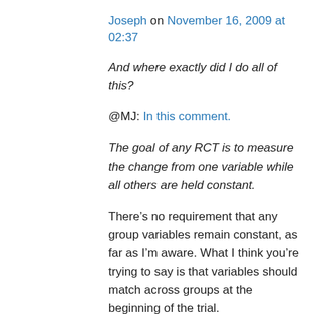Joseph on November 16, 2009 at 02:37
And where exactly did I do all of this?
@MJ: In this comment.
The goal of any RCT is to measure the change from one variable while all others are held constant.
There’s no requirement that any group variables remain constant, as far as I’m aware. What I think you’re trying to say is that variables should match across groups at the beginning of the trial.
Is there any evidence that some variable was unmatched?
If there were it would have been reported in the